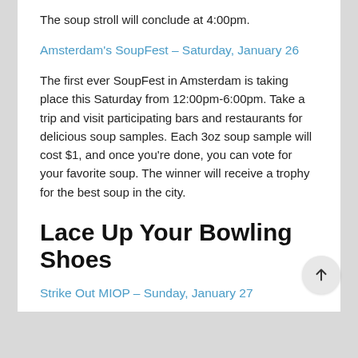The soup stroll will conclude at 4:00pm.
Amsterdam's SoupFest – Saturday, January 26
The first ever SoupFest in Amsterdam is taking place this Saturday from 12:00pm-6:00pm. Take a trip and visit participating bars and restaurants for delicious soup samples. Each 3oz soup sample will cost $1, and once you're done, you can vote for your favorite soup. The winner will receive a trophy for the best soup in the city.
Lace Up Your Bowling Shoes
Strike Out MIOP – Sunday, January 27